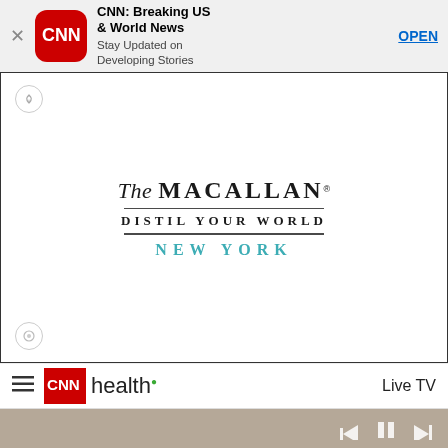[Figure (screenshot): App store banner for CNN Breaking US & World News app with CNN logo, title, subtitle 'Stay Updated on Developing Stories', and OPEN button]
[Figure (logo): The Macallan advertisement with logo text: 'The MACALLAN', 'DISTIL YOUR WORLD', 'NEW YORK' inside a bordered ad box]
[Figure (screenshot): CNN Health navigation bar with hamburger menu, CNN red logo box, 'health' text with green dot, and 'Live TV' on the right]
[Figure (photo): Partial photo of person reading a book in a hammock outdoors, with video player controls visible]